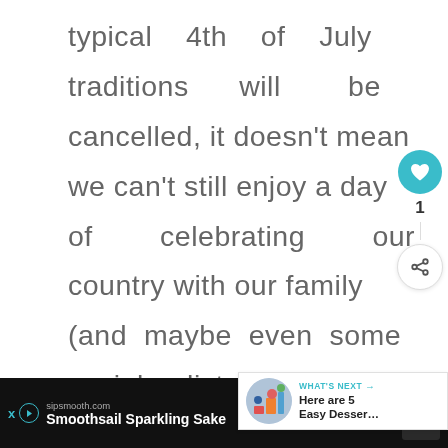typical 4th of July traditions will be cancelled, it doesn't mean we can't still enjoy a day of celebrating our country with our family (and maybe even some social distancing wi... friends!). 4th of…
[Figure (screenshot): UI sidebar with heart/like button (teal circle with heart icon), count label '1', and share button (circle with share icon)]
[Figure (screenshot): WHAT'S NEXT banner with circular thumbnail image and text 'Here are 5 Easy Desser...']
[Figure (screenshot): Advertisement bar at bottom: sipsmooth.com, 'Smoothsail Sparkling Sake', OPEN button, and close/dismiss controls with signal bars icon]